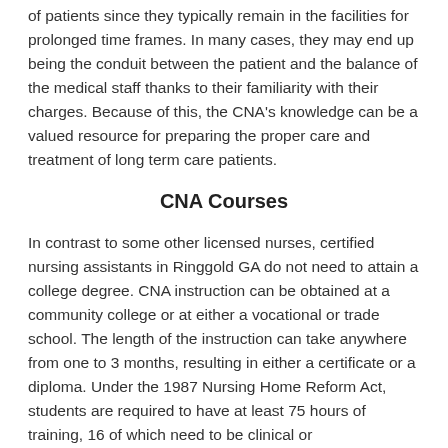of patients since they typically remain in the facilities for prolonged time frames. In many cases, they may end up being the conduit between the patient and the balance of the medical staff thanks to their familiarity with their charges. Because of this, the CNA's knowledge can be a valued resource for preparing the proper care and treatment of long term care patients.
CNA Courses
In contrast to some other licensed nurses, certified nursing assistants in Ringgold GA do not need to attain a college degree. CNA instruction can be obtained at a community college or at either a vocational or trade school. The length of the instruction can take anywhere from one to 3 months, resulting in either a certificate or a diploma. Under the 1987 Nursing Home Reform Act, students are required to have at least 75 hours of training, 16 of which need to be clinical or